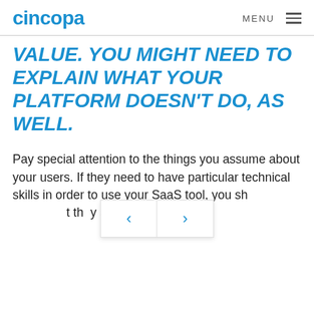cincopa  MENU
VALUE. YOU MIGHT NEED TO EXPLAIN WHAT YOUR PLATFORM DOESN'T DO, AS WELL.
Pay special attention to the things you assume about your users. If they need to have particular technical skills in order to use your SaaS tool, you should be aware that if they are expect